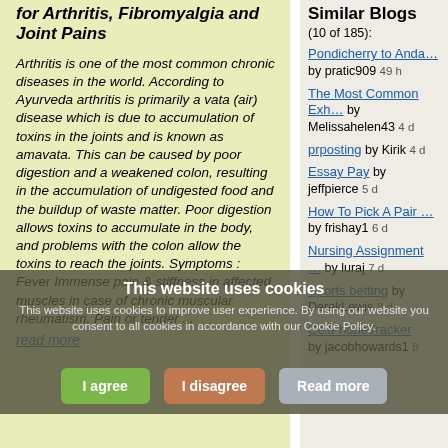for Arthritis, Fibromyalgia and Joint Pains
Arthritis is one of the most common chronic diseases in the world. According to Ayurveda arthritis is primarily a vata (air) disease which is due to accumulation of toxins in the joints and is known as amavata. This can be caused by poor digestion and a weakened colon, resulting in the accumulation of undigested food and the buildup of waste matter. Poor digestion allows toxins to accumulate in the body, and problems with the colon allow the toxins to reach the joints. Symptoms : Fever Immense pain & stiffness in affected muscles in case of chronic muscular rheumatism. Pain or tender ...
read more
Similar Blogs
(10 of 185):
Pondicherry to Anda…  by pratic909  49 h
The Most Common Exh…  by Melissahelen43  4 d
prposting  by Kirik  4 d
Essay Pay  by jeffpierce  5 d
How To Pick A Pair …  by frishay1  6 d
Nursing Assignment …  by luraj  7 d
Sports betting  by DerekLewis  8 d
CellPhoneTracker  by jacobhowards1  8
This website uses cookies
This website uses cookies to improve user experience. By using our website you consent to all cookies in accordance with our Cookie Policy.
I agree  I disagree  Read more